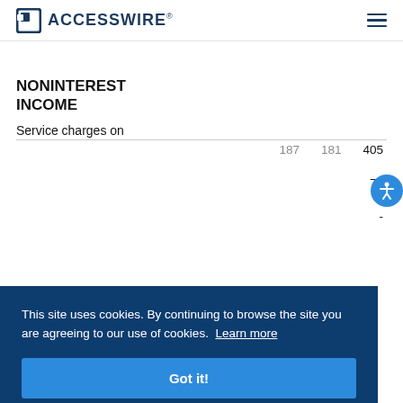ACCESSWIRE®
NONINTEREST INCOME
Service charges on deposits
405  78  -
This site uses cookies. By continuing to browse the site you are agreeing to our use of cookies. Learn more  Got it!